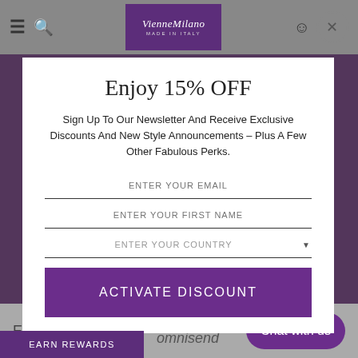[Figure (screenshot): VienneMilano website header navbar with hamburger icon, search icon, brand logo, user icon, and close button]
Enjoy 15% OFF
Sign Up To Our Newsletter And Receive Exclusive Discounts And New Style Announcements – Plus A Few Other Fabulous Perks.
ENTER YOUR EMAIL
ENTER YOUR FIRST NAME
ENTER YOUR COUNTRY
ACTIVATE DISCOUNT
Enter email
Powered by omnisend
Chat with us
EARN REWARDS